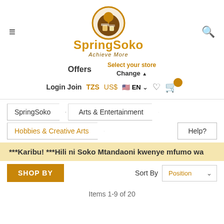SpringSoko — Achieve More
Offers   Select your store Change
Login Join   TZS   US$   EN   ♡   🛒
SpringSoko > Arts & Entertainment > Hobbies & Creative Arts   Help?
***Karibu! ***Hili ni Soko Mtandaoni kwenye mfumo wa
SHOP BY   Sort By   Position
Items 1-9 of 20